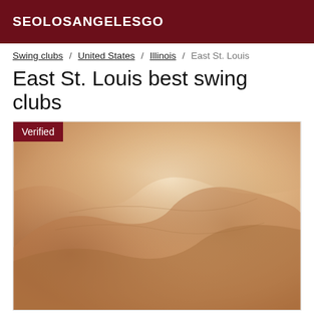SEOLOSANGELESGO
Swing clubs / United States / Illinois / East St. Louis
East St. Louis best swing clubs
[Figure (photo): Close-up blurred photo of human skin/body with a 'Verified' badge in the top-left corner]